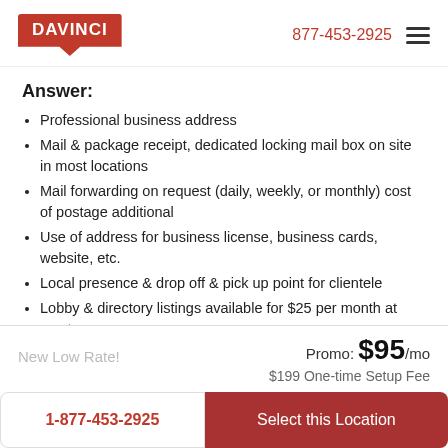DAVINCI  877-453-2925
Answer:
Professional business address
Mail & package receipt, dedicated locking mail box on site in most locations
Mail forwarding on request (daily, weekly, or monthly) cost of postage additional
Use of address for business license, business cards, website, etc.
Local presence & drop off & pick up point for clientele
Lobby & directory listings available for $25 per month at most
Promo: $95/mo
New Low Rate!
$199 One-time Setup Fee
1-877-453-2925  Select this Location